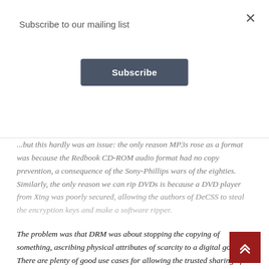Subscribe to our mailing list
Subscribe
...but this hardly was an issue: the only reason MP3s rose as a format was because the Redbook CD-ROM audio format had no copy prevention, a consequence of the Sony-Phillips wars of the eighties. Similarly, the only reason we can rip DVDs is because a DVD player from Xing was poorly secured, allowing the authors of DeCSS to steal the encryption keys and make a software ripper.
The problem was that DRM was about stopping the copying of something, ascribing physical attributes of scarcity to a digital good. There are plenty of good use cases for allowing the trusted sharing of something: Publishing a song, transmitting a medical record, collaborating on a contract. And that’s what Blockchain do.